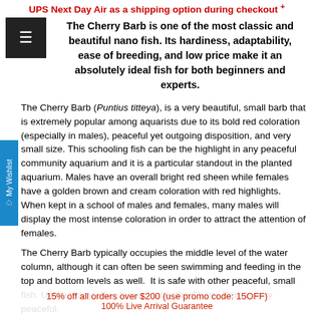UPS Next Day Air as a shipping option during checkout +
The Cherry Barb is one of the most classic and beautiful nano fish. Its hardiness, adaptability, ease of breeding, and low price make it an absolutely ideal fish for both beginners and experts.
The Cherry Barb (Puntius titteya), is a very beautiful, small barb that is extremely popular among aquarists due to its bold red coloration (especially in males), peaceful yet outgoing disposition, and very small size. This schooling fish can be the highlight in any peaceful community aquarium and it is a particular standout in the planted aquarium. Males have an overall bright red sheen while females have a golden brown and cream coloration with red highlights.  When kept in a school of males and females, many males will display the most intense coloration in order to attract the attention of females.
The Cherry Barb typically occupies the middle level of the water column, although it can often be seen swimming and feeding in the top and bottom levels as well.  It is safe with other peaceful, small fish. Unlike many other larger barbs, the Cherry Barb is very peaceful. Due to its extra small size, it can be viewed as similar to microrasboras and blue-eye rainbowfish as far as its compatibility with dwarf shrimp. Larger, peaceful invertebrates can also make good tankmates. When
15% off all orders over $200 (use promo code: 15OFF)
100% Live Arrival Guarantee